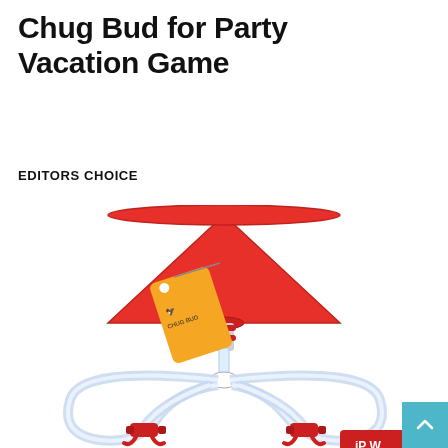Chug Bud for Party Vacation Game
EDITORS CHOICE
[Figure (photo): A red party funnel (Chug Bud) with two clear flexible tubes extending from the base, red valve clamps at the ends, and an orange hang tag with a logo. The device allows two people to drink simultaneously from one funnel.]